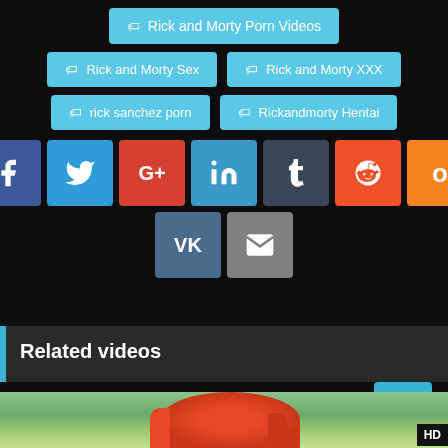Rick and Morty Porn Videos
Rick and Morty Sex
Rick and Morty XXX
rick sanchez porn
Rickandmorty Hentai
[Figure (infographic): Social share buttons: Facebook, Twitter, Google+, LinkedIn, Tumblr, Reddit, Odnoklassniki, VK, Email]
Related videos
[Figure (photo): Animated cartoon thumbnail showing character with orange/red hair, HD badge in corner]